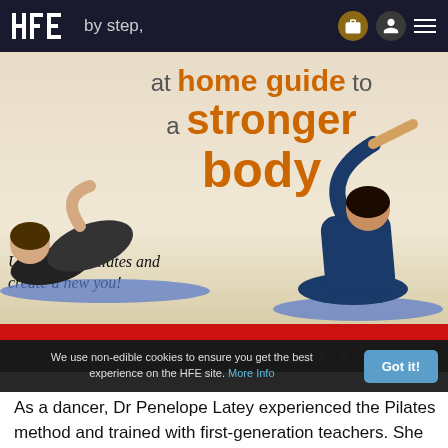hfe by step,
[Figure (photo): Book cover for a Pilates guide showing two people performing Pilates exercises on blue mats against a cream background, with orange large title text 'at home guide to a stronger body' and italic subtitle 'Understand Pilates and create a new you!' A red bar at the bottom and author name PENELOPE LATEY in faded text.]
We use non-edible cookies to ensure you get the best experience on the HFE site. More Info
As a dancer, Dr Penelope Latey experienced the Pilates method and trained with first-generation teachers. She also established one of the first Pilates training programmes in Australia.